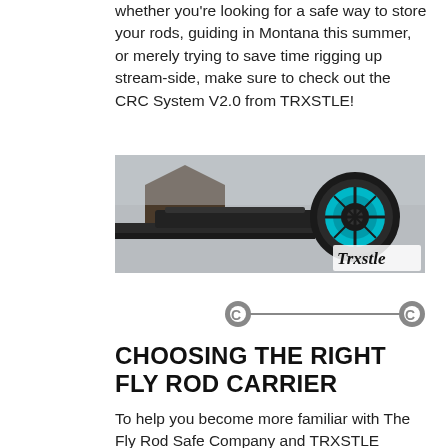whether you're looking for a safe way to store your rods, guiding in Montana this summer, or merely trying to save time rigging up stream-side, make sure to check out the CRC System V2.0 from TRXSTLE!
[Figure (photo): Advertisement banner image showing fly fishing rod mounted on top of a vehicle with a fly reel close-up, and TRXSTLE logo on the right side.]
[Figure (other): Decorative divider: a horizontal line with circular caps on each end, in gray.]
CHOOSING THE RIGHT FLY ROD CARRIER
To help you become more familiar with The Fly Rod Safe Company and TRXSTLE brands of fly rod carriers, we've put together a list of features